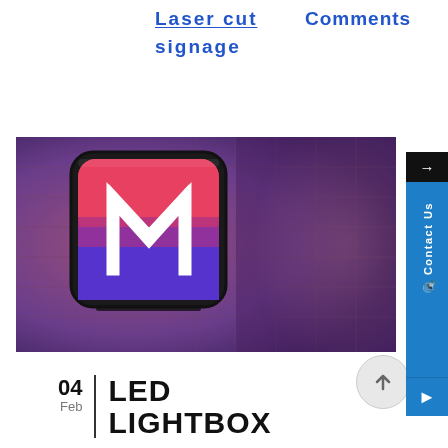Laser cut signage    Comments
[Figure (photo): LED lightbox sign mounted on a brick wall, glowing with red and purple gradient, featuring a white geometric M logo on the front face]
04
Feb
LED LIGHTBOX